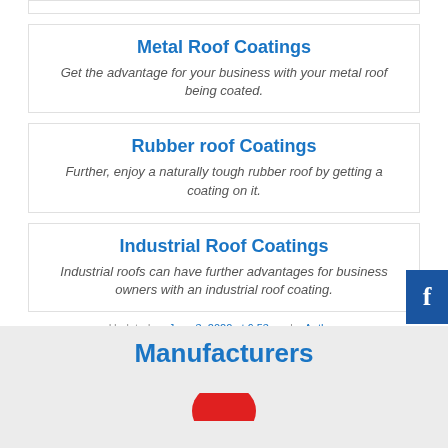Metal Roof Coatings
Get the advantage for your business with your metal roof being coated.
Rubber roof Coatings
Further, enjoy a naturally tough rubber roof by getting a coating on it.
Industrial Roof Coatings
Industrial roofs can have further advantages for business owners with an industrial roof coating.
Updated on June 3, 2020 at 6:53 pm by Author.
Manufacturers